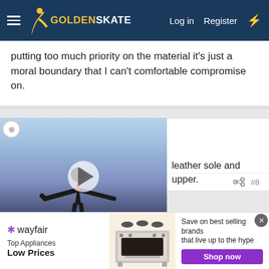GoldenSkate — Log in | Register
putting too much priority on the material it's just a moral boundary that I can't comfortable compromise on.
MCsAngel2 — On the Ice
leather sole and upper.
#8
[Figure (screenshot): Video player showing a figure skater in black costume on ice, with a play button overlay]
[Figure (screenshot): Wayfair advertisement banner: Top Appliances Low Prices, Save on best selling brands that live up to the hype, Shop now button]